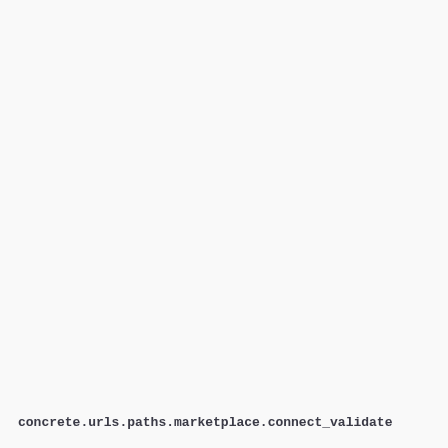concrete.urls.paths.marketplace.connect_validate